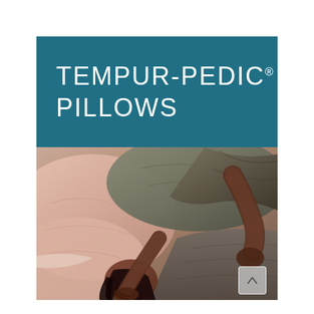TEMPUR-PEDIC® PILLOWS
[Figure (photo): Overhead view of two people resting on Tempur-Pedic pillows. A woman with dark hair lies on a blush/pink pillow in the foreground, and another person rests on a dark olive/charcoal pillow in the background. The scene is warm and intimate, showcasing the pillows in use.]